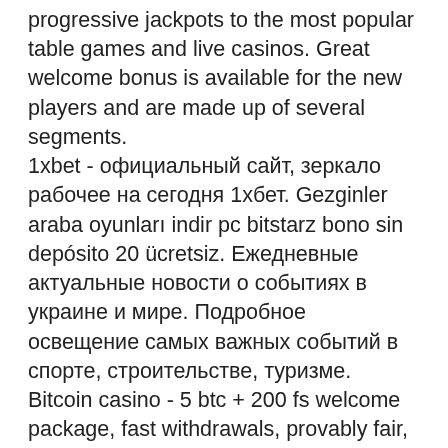progressive jackpots to the most popular table games and live casinos. Great welcome bonus is available for the new players and are made up of several segments. 1xbet - официальный сайт, зеркало рабочее на сегодня 1xбет. Gezginler araba oyunları indir pc bitstarz bono sin depósito 20 ücretsiz. Ежедневные актуальные новости о событиях в украине и мире. Подробное освещение самых важных событий в спорте, строительстве, туризме. Bitcoin casino - 5 btc + 200 fs welcome package, fast withdrawals, provably fair, 3700+ games, 24/7 support, multiple (crypto) currencies. Bitstarz casino — популярный игорный ресурс с отменными условиями. В клубе битстарз регистрация занимает считаные секунды. Вход на официальный сайт казино. Онлайн казино битстарз для игроков украины: